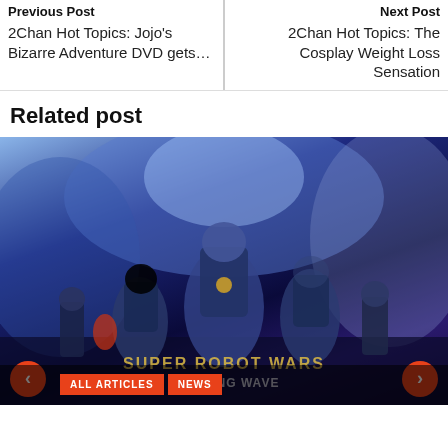Previous Post
2Chan Hot Topics: Jojo's Bizarre Adventure DVD gets…
Next Post
2Chan Hot Topics: The Cosplay Weight Loss Sensation
Related post
[Figure (photo): Anime/mecha illustration showing multiple robot and character figures grouped together with a dark blue background and glowing light effects. Bottom overlay shows navigation arrows and category tag buttons 'ALL ARTICLES' and 'NEWS'.]
ALL ARTICLES   NEWS